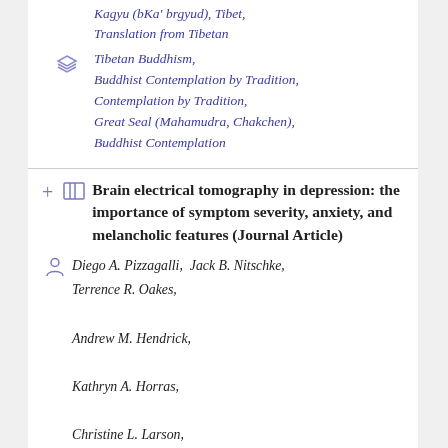Kagyu (bKa' brgyud), Tibet, Translation from Tibetan
Tibetan Buddhism, Buddhist Contemplation by Tradition, Contemplation by Tradition, Great Seal (Mahamudra, Chakchen), Buddhist Contemplation
Brain electrical tomography in depression: the importance of symptom severity, anxiety, and melancholic features (Journal Article)
Diego A. Pizzagalli, Jack B. Nitschke, Terrence R. Oakes, Andrew M. Hendrick, Kathryn A. Horras, Christine L. Larson, Heather C. Abercrombie, Stacey M. Schaefer, John V. Koger, Ruth M. Benca,